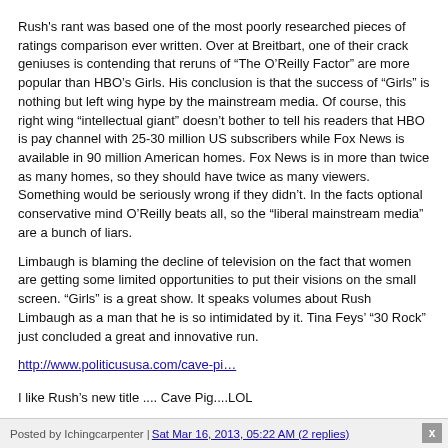Rush's rant was based one of the most poorly researched pieces of ratings comparison ever written. Over at Breitbart, one of their crack geniuses is contending that reruns of “The O’Reilly Factor” are more popular than HBO’s Girls. His conclusion is that the success of “Girls” is nothing but left wing hype by the mainstream media. Of course, this right wing “intellectual giant” doesn’t bother to tell his readers that HBO is pay channel with 25-30 million US subscribers while Fox News is available in 90 million American homes. Fox News is in more than twice as many homes, so they should have twice as many viewers. Something would be seriously wrong if they didn’t. In the facts optional conservative mind O’Reilly beats all, so the “liberal mainstream media” are a bunch of liars.
Limbaugh is blaming the decline of television on the fact that women are getting some limited opportunities to put their visions on the small screen. “Girls” is a great show. It speaks volumes about Rush Limbaugh as a man that he is so intimidated by it. Tina Feys’ “30 Rock” just concluded a great and innovative run.
http://www.politicususa.com/cave-pi…
I like Rush’s new title .... Cave Pig....LOL
Posted by Ichingcarpenter | Sat Mar 16, 2013, 05:22 AM (2 replies)